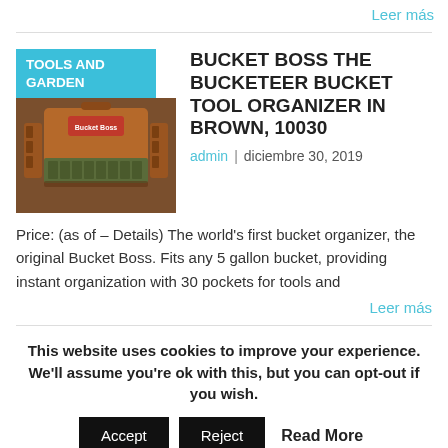Leer más
[Figure (photo): Brown bucket tool organizer bag with multiple pockets]
BUCKET BOSS THE BUCKETEER BUCKET TOOL ORGANIZER IN BROWN, 10030
admin | diciembre 30, 2019
Price: (as of – Details) The world's first bucket organizer, the original Bucket Boss. Fits any 5 gallon bucket, providing instant organization with 30 pockets for tools and
Leer más
This website uses cookies to improve your experience. We'll assume you're ok with this, but you can opt-out if you wish.
Accept  Reject  Read More